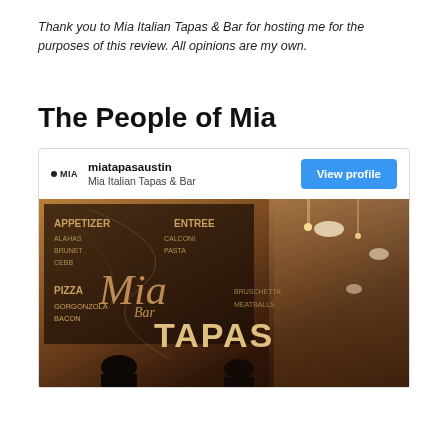Thank you to Mia Italian Tapas & Bar for hosting me for the purposes of this review. All opinions are my own.
The People of Mia
[Figure (screenshot): Instagram embed card showing miatapasaustin account (Mia Italian Tapas & Bar) with a View profile button and a photo of the restaurant interior showing a menu board with TAPAS text and dim restaurant lighting with people visible in the foreground.]